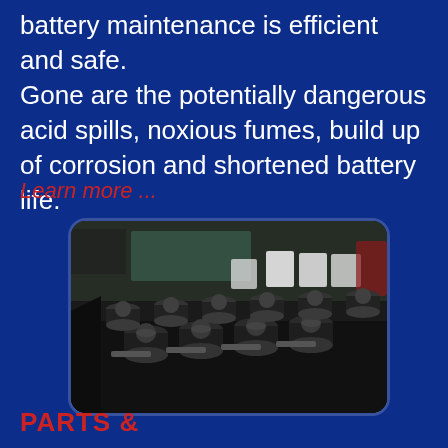battery maintenance is efficient and safe. Gone are the potentially dangerous acid spills, noxious fumes, build up of corrosion and shortened battery life.
Learn more ...
[Figure (photo): Close-up photo of industrial lead-acid batteries with black cylindrical cell caps arranged in rows, taken in a workshop/warehouse environment]
PARTS &